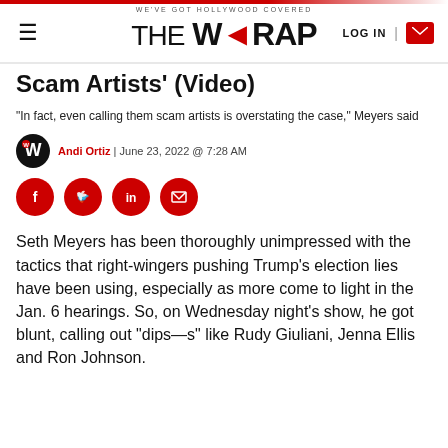WE'VE GOT HOLLYWOOD COVERED | THE WRAP | LOG IN
Scam Artists' (Video)
"In fact, even calling them scam artists is overstating the case," Meyers said
Andi Ortiz | June 23, 2022 @ 7:28 AM
[Figure (other): Social share buttons: Facebook, Twitter, LinkedIn, Email]
Seth Meyers has been thoroughly unimpressed with the tactics that right-wingers pushing Trump’s election lies have been using, especially as more come to light in the Jan. 6 hearings. So, on Wednesday night’s show, he got blunt, calling out “dips—s” like Rudy Giuliani, Jenna Ellis and Ron Johnson.